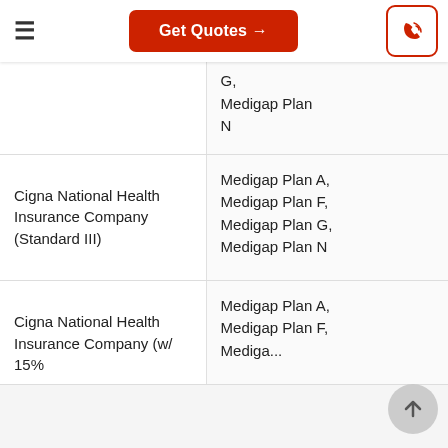Get Quotes →
| Company | Plans Available |
| --- | --- |
| [Company name partial] | Medigap Plan G,
Medigap Plan N |
| Cigna National Health Insurance Company (Standard III) | Medigap Plan A,
Medigap Plan F,
Medigap Plan G,
Medigap Plan N |
| Cigna National Health Insurance Company (w/ 15% | Medigap Plan A,
Medigap Plan F,
Medigap Pl... |